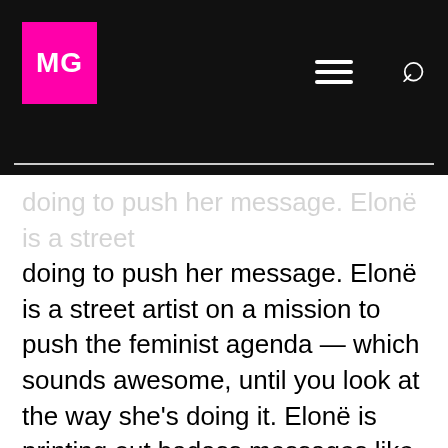MG
doing to push her message. Elonë is a street artist on a mission to push the feminist agenda — which sounds awesome, until you look at the way she's doing it. Elonë is printing out badass messages like “my pussy my choice” and “rapists rape people not outfits” and taping them onto period pads.
While the message is great and the mini messages are even greater, this kind of arctivism (art + activism) is highly problematic